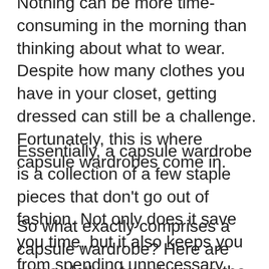Nothing can be more time-consuming in the morning than thinking about what to wear. Despite how many clothes you have in your closet, getting dressed can still be a challenge. Fortunately, this is where capsule wardrobes come in.
Essentially, a capsule wardrobe is a collection of a few staple pieces that don't go out of fashion. Not only does it save you time, but it also keeps you from spending unnecessary money on a shirt you'll eventually forget about.
So what exactly comprises a capsule wardrobe? Here are some clothes to put you on the right track.